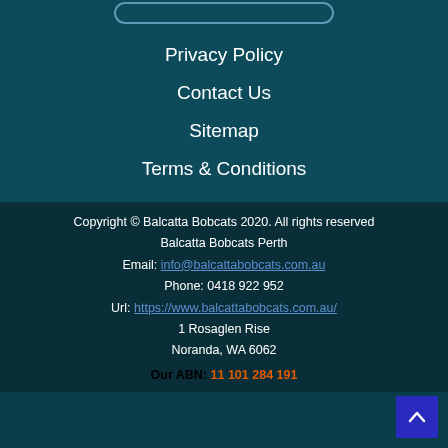[Figure (other): Rounded rectangle search/button bar at top]
Privacy Policy
Contact Us
Sitemap
Terms & Conditions
Copyright © Balcatta Bobcats 2020. All rights reserved
Balcatta Bobcats Perth
Email: info@balcattabobcats.com.au
Phone: 0418 922 952
Url: https://www.balcattabobcats.com.au/
1 Rosaglen Rise
Noranda, WA 6062
Our ABN: 11 101 284 191